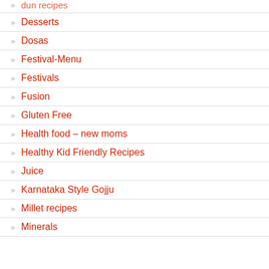Desserts
Dosas
Festival-Menu
Festivals
Fusion
Gluten Free
Health food – new moms
Healthy Kid Friendly Recipes
Juice
Karnataka Style Gojju
Millet recipes
Minerals